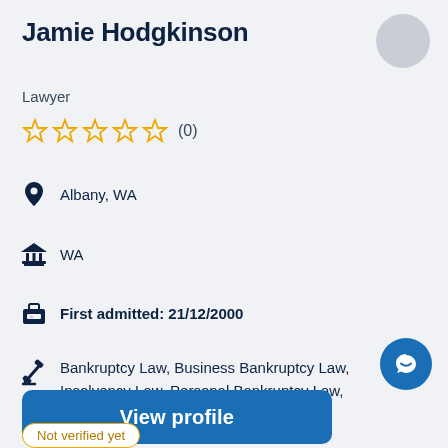Jamie Hodgkinson
Lawyer
☆☆☆☆☆ (0)
Albany, WA
WA
First admitted: 21/12/2000
Bankruptcy Law, Business Bankruptcy Law, Insolvency Law, Personal Bankruptcy Law, Breach Of Contract Law... and more!
View profile
Not verified yet